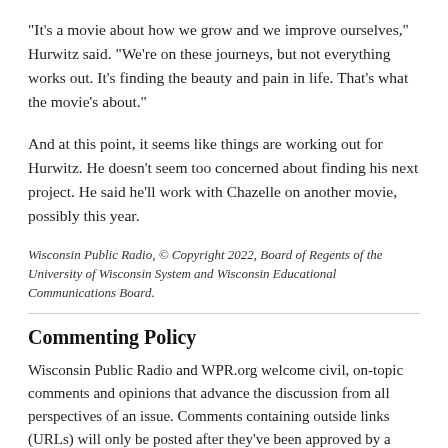"It's a movie about how we grow and we improve ourselves," Hurwitz said. "We're on these journeys, but not everything works out. It's finding the beauty and pain in life. That's what the movie's about."
And at this point, it seems like things are working out for Hurwitz. He doesn't seem too concerned about finding his next project. He said he'll work with Chazelle on another movie, possibly this year.
Wisconsin Public Radio, © Copyright 2022, Board of Regents of the University of Wisconsin System and Wisconsin Educational Communications Board.
Commenting Policy
Wisconsin Public Radio and WPR.org welcome civil, on-topic comments and opinions that advance the discussion from all perspectives of an issue. Comments containing outside links (URLs) will only be posted after they've been approved by a moderator. WPR.org will delete comments that violate our guidelines. Visit our social media guidelines